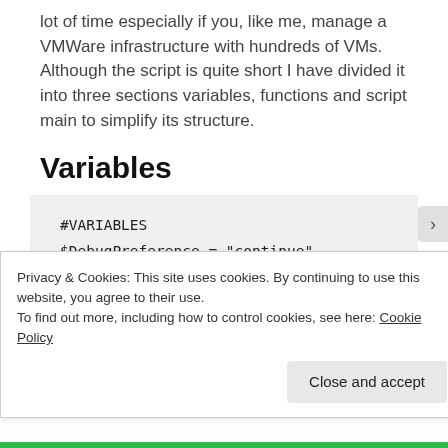lot of time especially if you, like me, manage a VMWare infrastructure with hundreds of VMs.
Although the script is quite short I have divided it into three sections variables, functions and script main to simplify its structure.
Variables
[Figure (screenshot): Code block showing PowerShell variables section: #VARIABLES and $DebugPreference = "continue" #comment]
Privacy & Cookies: This site uses cookies. By continuing to use this website, you agree to their use.
To find out more, including how to control cookies, see here: Cookie Policy
Close and accept